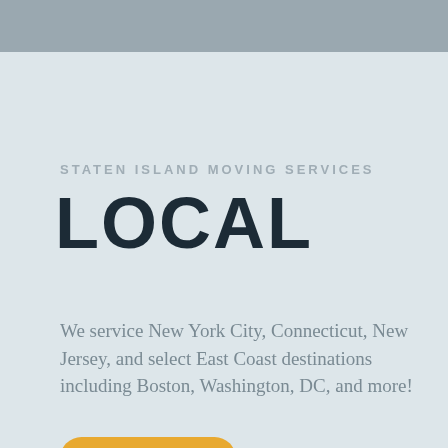STATEN ISLAND MOVING SERVICES
LOCAL
We service New York City, Connecticut, New Jersey, and select East Coast destinations including Boston, Washington, DC, and more!
LEARN MORE